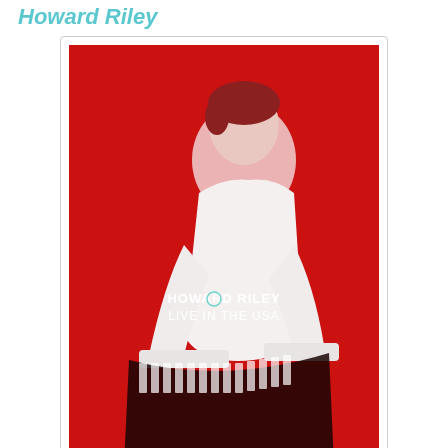Howard Riley
[Figure (photo): Album cover for Howard Riley 'Live in the USA' — a red-background photo of a man in white clothing playing piano, with text 'HOWARD RILEY LIVE IN THE USA' overlaid in white]
The British pianist Howard Riley spent time studying, teaching and playing in the States as well as in his home country, and it is this nomadic spirit that allowed his playing and technique to develop continuously throughout his career. Riley notes in the brief liner section that he was experiencing a period of transition when these solo performances were recorded in New York City and Buffalo during the mid 1970's. The sound of the album is crisp and clear allowing the listener to hear Riley explore the entirety of they keyboard, beginning with the opening track where he frames his improvisation by playing inside the piano for a bit, creating